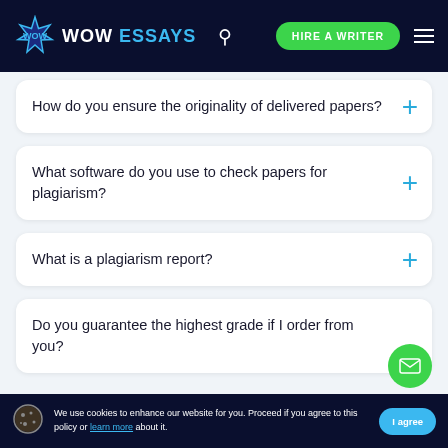[Figure (logo): WOW Essays logo with navigation bar including search icon, HIRE A WRITER green button, and hamburger menu on dark navy background]
How do you ensure the originality of delivered papers?
What software do you use to check papers for plagiarism?
What is a plagiarism report?
Do you guarantee the highest grade if I order from you?
We use cookies to enhance our website for you. Proceed if you agree to this policy or learn more about it.